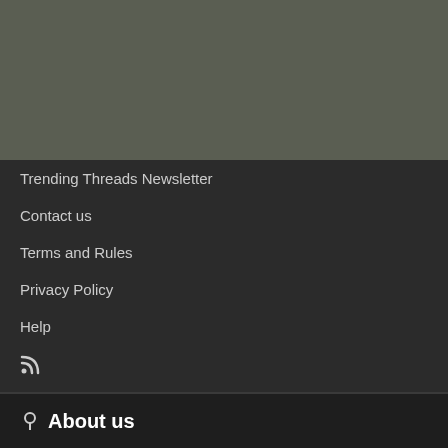[Figure (other): Gray/olive colored background image area at the top of the page]
Trending Threads Newsletter
Contact us
Terms and Rules
Privacy Policy
Help
RSS feed icon
About us
TDPRI, short for Telecaster Discussion Page Reissue, is the leading online community and marketplace for Telecaster guitars.